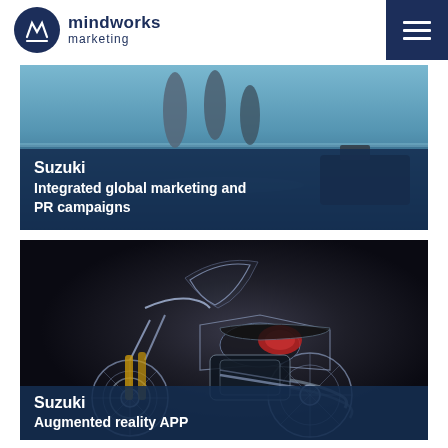[Figure (logo): Mindworks Marketing logo — circular dark navy icon with stylized M, company name in two lines]
[Figure (infographic): Hamburger / menu icon on dark navy background, top-right corner]
[Figure (photo): Suzuki marine image showing fish and ocean water with Suzuki outboard motor]
Suzuki
Integrated global marketing and PR campaigns
[Figure (photo): Suzuki motorcycle 3D wireframe/render image on dark background showing adventure touring bike]
Suzuki
Augmented reality APP